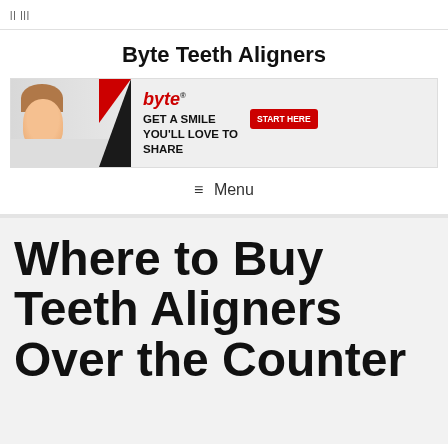|| |||
Byte Teeth Aligners
[Figure (illustration): Byte teeth aligners advertisement banner showing a woman smiling with aligners, the Byte logo in red italic, tagline 'GET A SMILE YOU'LL LOVE TO SHARE', and a red 'START HERE' button]
≡ Menu
Where to Buy Teeth Aligners Over the Counter